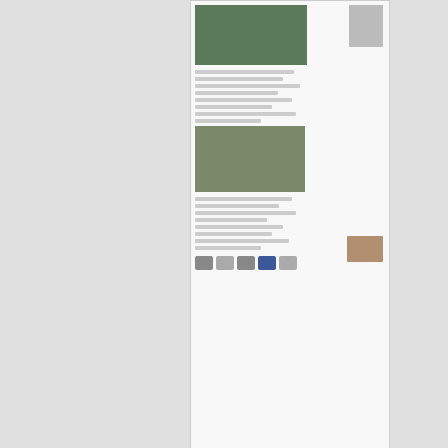[Figure (screenshot): Screenshot of a webpage showing two photos (a person in formal attire, and another person at a table), text lines, and social sharing icons at the bottom]
↩ Reply
Karma bhu
April 27, 2018
Did His Holiness the Dalai Lama reco... Karmapa?
The Karmapas and Sharmapas are spiritually insepa... the 900-year-old Karma Kagyu lineage, a spiritual t... of the Dalai Lamas by over 200 years. They are also... of each other's reincarnations. However, in 1992, T...